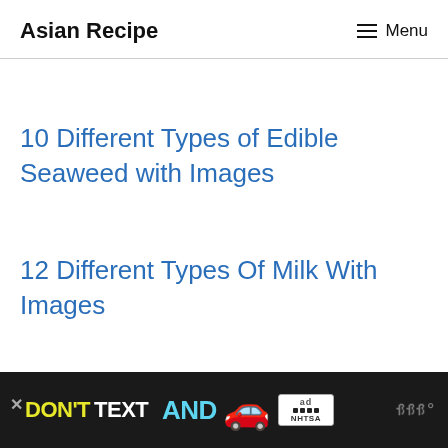Asian Recipe  ☰ Menu
10 Different Types of Edible Seaweed with Images
12 Different Types Of Milk With Images
[Figure (screenshot): Advertisement banner at the bottom: dark background, text 'DON'T TEXT AND' in yellow and cyan, red car emoji, NHTSA ad badge with close button, and WR logo on right]